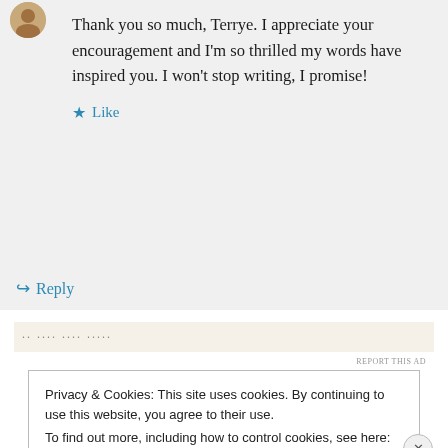Thank you so much, Terrye. I appreciate your encouragement and I'm so thrilled my words have inspired you. I won't stop writing, I promise!
★ Like
↪ Reply
[Figure (other): Advertisement bar with dots pattern]
REPORT THIS AD
Privacy & Cookies: This site uses cookies. By continuing to use this website, you agree to their use. To find out more, including how to control cookies, see here: Cookie Policy
Close and accept